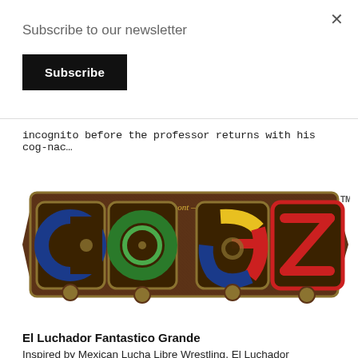×
Subscribe to our newsletter
Subscribe
incognito before the professor returns with his cog-nac…
[Figure (photo): Stylized steampunk logo reading 'COGZ' with colorful mechanical gears and ornate bronze-colored decorative elements on a dark wood background. Wesley Lamont branding with TM mark.]
El Luchador Fantastico Grande
Inspired by Mexican Lucha Libre Wrestling, El Luchador Fantastico